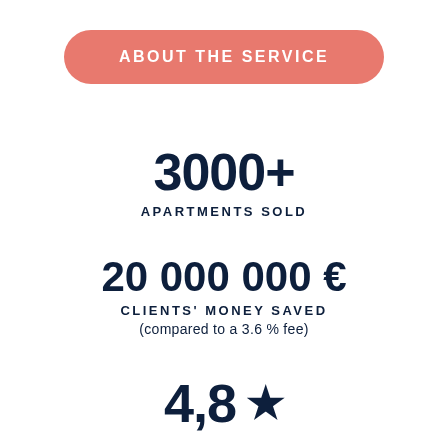ABOUT THE SERVICE
3000+
APARTMENTS SOLD
20 000 000 €
CLIENTS' MONEY SAVED
(compared to a 3.6 % fee)
4,8 ★